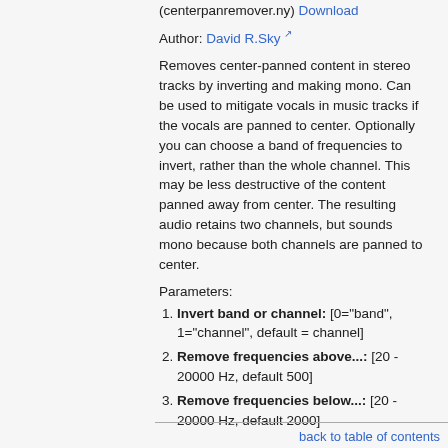(centerpanremover.ny) Download
Author: David R.Sky
Removes center-panned content in stereo tracks by inverting and making mono. Can be used to mitigate vocals in music tracks if the vocals are panned to center. Optionally you can choose a band of frequencies to invert, rather than the whole channel. This may be less destructive of the content panned away from center. The resulting audio retains two channels, but sounds mono because both channels are panned to center.
Parameters:
Invert band or channel: [0="band", 1="channel", default = channel]
Remove frequencies above...: [20 - 20000 Hz, default 500]
Remove frequencies below...: [20 - 20000 Hz, default 2000]
back to table of contents